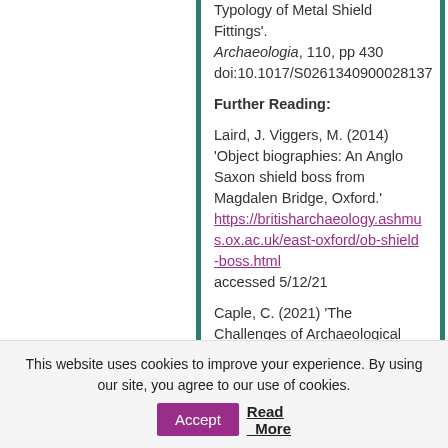Typology of Metal Shield Fittings'. Archaeologia, 110, pp 430 doi:10.1017/S0261340900028137
Further Reading:
Laird, J. Viggers, M. (2014) 'Object biographies: An Anglo Saxon shield boss from Magdalen Bridge, Oxford.' https://britisharchaeology.ashmus.ox.ac.uk/east-oxford/ob-shield-boss.html accessed 5/12/21
Caple, C. (2021) 'The Challenges of Archaeological Conservation', in Caple C, Garlick V. (eds) Studies in
This website uses cookies to improve your experience. By using our site, you agree to our use of cookies. Accept Read More